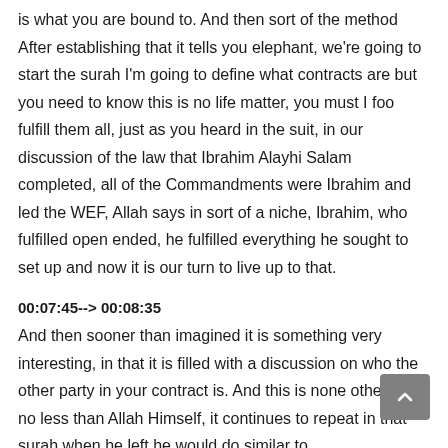is what you are bound to. And then sort of the method After establishing that it tells you elephant, we're going to start the surah I'm going to define what contracts are but you need to know this is no life matter, you must I foo fulfill them all, just as you heard in the suit, in our discussion of the law that Ibrahim Alayhi Salam completed, all of the Commandments were Ibrahim and led the WEF, Allah says in sort of a niche, Ibrahim, who fulfilled open ended, he fulfilled everything he sought to set up and now it is our turn to live up to that.
00:07:45--> 00:08:35
And then sooner than imagined it is something very interesting, in that it is filled with a discussion on who the other party in your contract is. And this is none other and no less than Allah Himself, it continues to repeat in that surah when he left he would do similar to